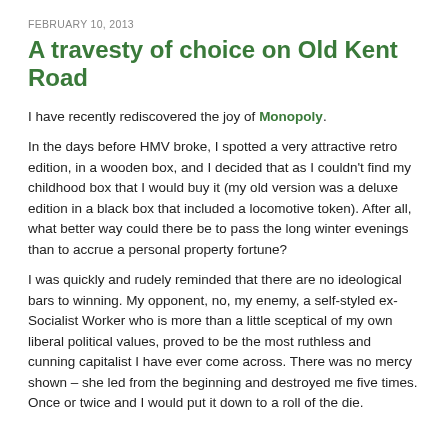FEBRUARY 10, 2013
A travesty of choice on Old Kent Road
I have recently rediscovered the joy of Monopoly.
In the days before HMV broke, I spotted a very attractive retro edition, in a wooden box, and I decided that as I couldn't find my childhood box that I would buy it (my old version was a deluxe edition in a black box that included a locomotive token). After all, what better way could there be to pass the long winter evenings than to accrue a personal property fortune?
I was quickly and rudely reminded that there are no ideological bars to winning. My opponent, no, my enemy, a self-styled ex-Socialist Worker who is more than a little sceptical of my own liberal political values, proved to be the most ruthless and cunning capitalist I have ever come across. There was no mercy shown – she led from the beginning and destroyed me five times. Once or twice and I would put it down to a roll of the die.